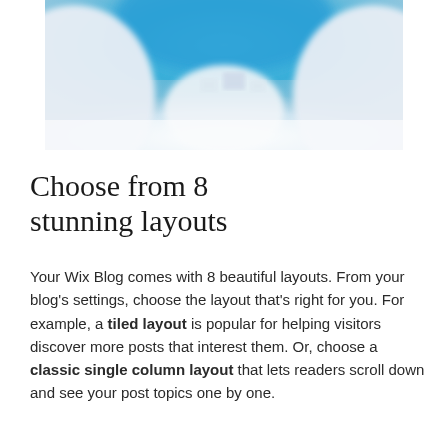[Figure (photo): A blurred abstract photo with blue sky/ceiling and white architectural elements, viewed from below looking upward.]
Choose from 8 stunning layouts
Your Wix Blog comes with 8 beautiful layouts. From your blog's settings, choose the layout that's right for you. For example, a tiled layout is popular for helping visitors discover more posts that interest them. Or, choose a classic single column layout that lets readers scroll down and see your post topics one by one.